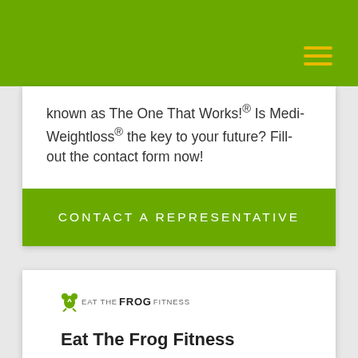known as The One That Works!® Is Medi-Weightloss® the key to your future? Fill-out the contact form now!
CONTACT A REPRESENTATIVE
[Figure (logo): Eat The Frog Fitness logo with frog icon]
Eat The Frog Fitness